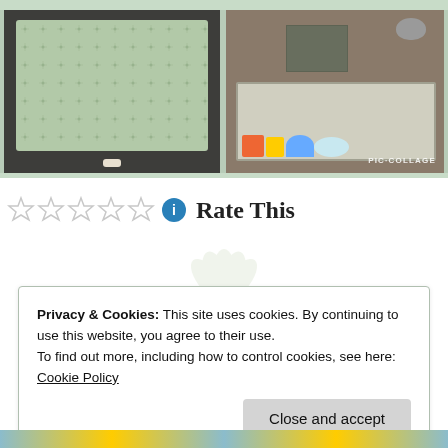[Figure (photo): Photo collage showing two storage baskets/boxes. Left photo: a dark wicker basket with a green patterned fabric liner with small dots/figures. Right photo: an open storage box/case on a couch with colorful toys inside and a grey mouse on top, with PIC·COLLAGE watermark.]
Rate This
Privacy & Cookies: This site uses cookies. By continuing to use this website, you agree to their use.
To find out more, including how to control cookies, see here: Cookie Policy
Close and accept